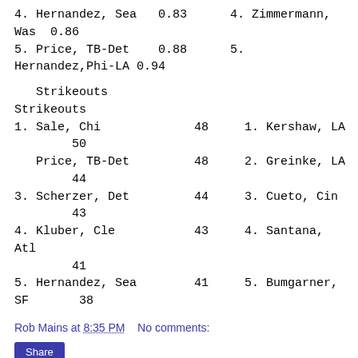4. Hernandez, Sea   0.83      4. Zimmermann, Was  0.86
5. Price, TB-Det    0.88      5. Hernandez,Phi-LA 0.94
Strikeouts                        Strikeouts
1. Sale, Chi             48     1. Kershaw, LA          50
Price, TB-Det         48     2. Greinke, LA          44
3. Scherzer, Det         44     3. Cueto, Cin           43
4. Kluber, Cle           43     4. Santana, Atl         41
5. Hernandez, Sea        41     5. Bumgarner, SF        38
Rob Mains at 8:35 PM    No comments:
Share